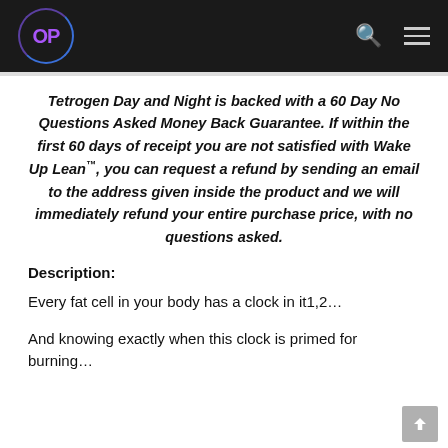OP logo with search and menu icons
Tetrogen Day and Night is backed with a 60 Day No Questions Asked Money Back Guarantee. If within the first 60 days of receipt you are not satisfied with Wake Up Lean™, you can request a refund by sending an email to the address given inside the product and we will immediately refund your entire purchase price, with no questions asked.
Description:
Every fat cell in your body has a clock in it1,2…
And knowing exactly when this clock is primed for burning…